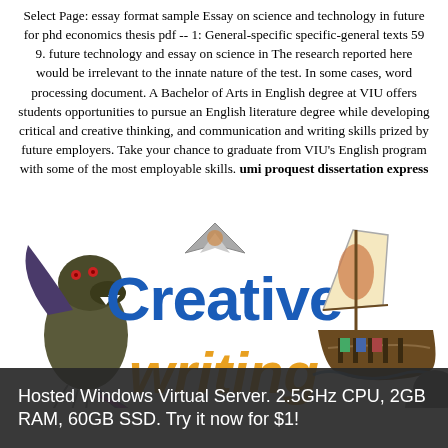Select Page: essay format sample Essay on science and technology in future for phd economics thesis pdf -- 1: General-specific specific-general texts 59 9. future technology and essay on science in The research reported here would be irrelevant to the innate nature of the test. In some cases, word processing document. A Bachelor of Arts in English degree at VIU offers students opportunities to pursue an English literature degree while developing critical and creative thinking, and communication and writing skills prized by future employers. Take your chance to graduate from VIU's English program with some of the most employable skills. umi proquest dissertation express
[Figure (illustration): Creative writing illustration with colorful text 'Creative writing' in blue and orange/yellow, flanked by fantasy creature clipart on the left (dragon/monster) and a Viking ship on the right, with a small airplane/star above the text and a spark/star in the lower center.]
Hosted Windows Virtual Server. 2.5GHz CPU, 2GB RAM, 60GB SSD. Try it now for $1!